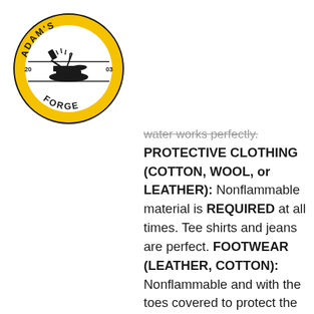[Figure (logo): Adam's Forge circular logo with yellow background, black anvil and tools in the center, text 'ADAM'S FORGE' around the border with '20' and '03' on either side]
water works perfectly. PROTECTIVE CLOTHING (COTTON, WOOL, or LEATHER): Nonflammable material is REQUIRED at all times. Tee shirts and jeans are perfect. FOOTWEAR (LEATHER, COTTON): Nonflammable and with the toes covered to protect the feet from the constant production of hot and sharp metal fragments which rain